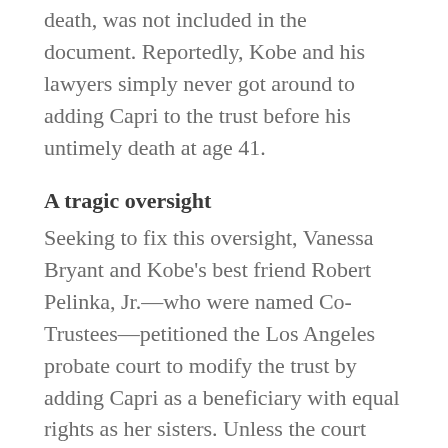born just six months before Kobe's death, was not included in the document. Reportedly, Kobe and his lawyers simply never got around to adding Capri to the trust before his untimely death at age 41.
A tragic oversight
Seeking to fix this oversight, Vanessa Bryant and Kobe's best friend Robert Pelinka, Jr.—who were named Co-Trustees—petitioned the Los Angeles probate court to modify the trust by adding Capri as a beneficiary with equal rights as her sisters. Unless the court agrees with the petition, Capri will be ineligible to inherit her share of the